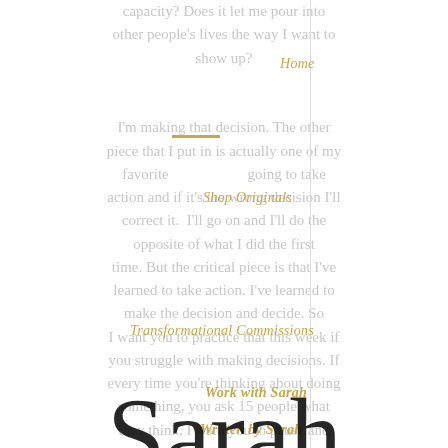capacity? Does it let me pour into other people's lives the way I want to show up? I'm making that decision. The other piece that I put in is actually one of my favorite going to take action and if it's the wrong decision I'll correct it. I'll go on and I'll do the opposite of what I did the first time. But the critical piece is that I've learned to take action. I've learned to make the decision and decide. So I want you to practice that this week if you struggle with making decisions. If every time you're thinking about doing something, you ask 15 people what they think, I want you to pause and decide what do I think? Then go with
Sarah Andreas
Home
Shop Originals
Transformational Commissions
Work with Sarah
Written by Sarah